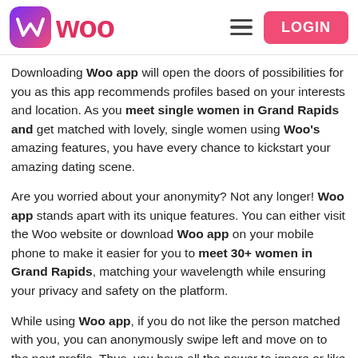Woo — LOGIN
Downloading Woo app will open the doors of possibilities for you as this app recommends profiles based on your interests and location. As you meet single women in Grand Rapids and get matched with lovely, single women using Woo's amazing features, you have every chance to kickstart your amazing dating scene.
Are you worried about your anonymity? Not any longer! Woo app stands apart with its unique features. You can either visit the Woo website or download Woo app on your mobile phone to make it easier for you to meet 30+ women in Grand Rapids, matching your wavelength while ensuring your privacy and safety on the platform.
While using Woo app, if you do not like the person matched with you, you can anonymously swipe left and move on to the next profile. Thus, you have all the power to ignore or like